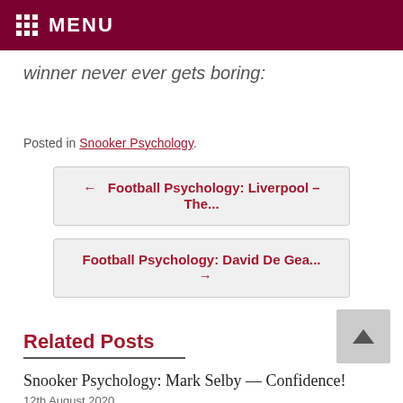MENU
winner never ever gets boring:
Posted in Snooker Psychology.
← Football Psychology: Liverpool – The...
Football Psychology: David De Gea... →
Related Posts
Snooker Psychology: Mark Selby — Confidence!
12th August 2020